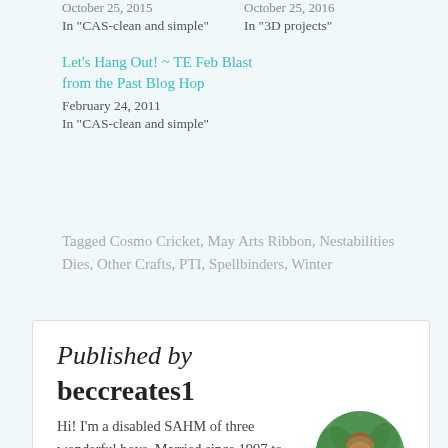October 25, 2015
In "CAS-clean and simple"
October 25, 2016
In "3D projects"
Let's Hang Out! ~ TE Feb Blast from the Past Blog Hop
February 24, 2011
In "CAS-clean and simple"
Tagged Cosmo Cricket, May Arts Ribbon, Nestabilities Dies, Other Crafts, PTI, Spellbinders, Winter
Published by
beccreates1
Hi! I'm a disabled SAHM of three wonderful boys. Married since 1997 to Tim. I love crafts, creating art,
[Figure (photo): Circular profile photo of a woman with curly hair and glasses, smiling, outdoors with green foliage background]